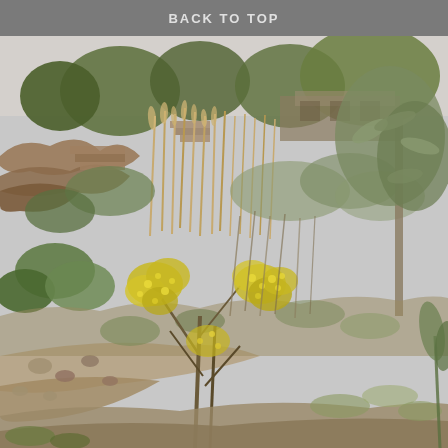BACK TO TOP
[Figure (photo): Outdoor hillside landscape photograph showing dry scrubland vegetation with yellow flowering bushes in the foreground, tall dry grasses and shrubs in the middle ground, rocky outcroppings and stone steps on the left side, and trees with a structure visible in the upper background. The scene appears to be a Mediterranean or dry-climate hillside garden or natural area.]